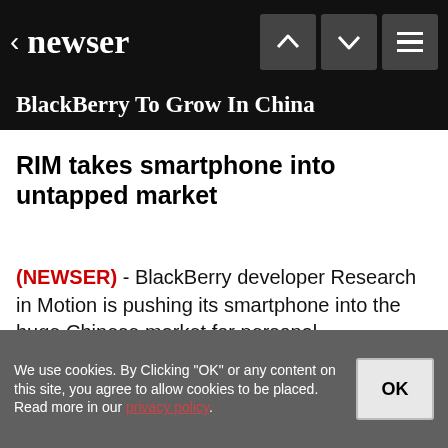newser
BlackBerry To Grow In China
RIM takes smartphone into untapped market
(NEWSER) - BlackBerry developer Research in Motion is pushing its smartphone into the huge Chinese market for personal communications devices, with major multinationals its first market target. Reuters reports RIM's Chinese partner, China Mobile, already has a two-thirds market share, but the Blackberry is expected to face tough opposition from a low-cost...
We use cookies. By Clicking "OK" or any content on this site, you agree to allow cookies to be placed. Read more in our privacy policy.